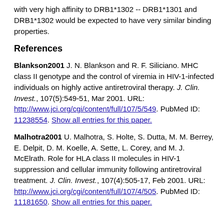with very high affinity to DRB1*1302 -- DRB1*1301 and DRB1*1302 would be expected to have very similar binding properties.
References
Blankson2001 J. N. Blankson and R. F. Siliciano. MHC class II genotype and the control of viremia in HIV-1-infected individuals on highly active antiretroviral therapy. J. Clin. Invest., 107(5):549-51, Mar 2001. URL: http://www.jci.org/cgi/content/full/107/5/549. PubMed ID: 11238554. Show all entries for this paper.
Malhotra2001 U. Malhotra, S. Holte, S. Dutta, M. M. Berrey, E. Delpit, D. M. Koelle, A. Sette, L. Corey, and M. J. McElrath. Role for HLA class II molecules in HIV-1 suppression and cellular immunity following antiretroviral treatment. J. Clin. Invest., 107(4):505-17, Feb 2001. URL: http://www.jci.org/cgi/content/full/107/4/505. PubMed ID: 11181650. Show all entries for this paper.